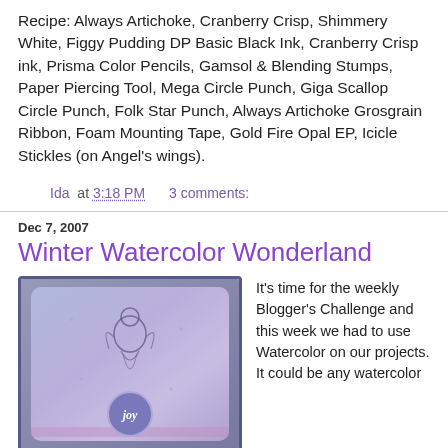Recipe: Always Artichoke, Cranberry Crisp, Shimmery White, Figgy Pudding DP Basic Black Ink, Cranberry Crisp ink, Prisma Color Pencils, Gamsol & Blending Stumps, Paper Piercing Tool, Mega Circle Punch, Giga Scallop Circle Punch, Folk Star Punch, Always Artichoke Grosgrain Ribbon, Foam Mounting Tape, Gold Fire Opal EP, Icicle Stickles (on Angel's wings).
Ida at 3:18 PM    3 comments:
Dec 7, 2007
Winter Watercolor Wonderland
[Figure (photo): A handmade greeting card with a blue/purple watercolor background, featuring a stamped fairy or angel figure, with a purple circular badge at the bottom containing the word 'joy'.]
It's time for the weekly Blogger's Challenge and this week we had to use Watercolor on our projects. It could be any watercolor